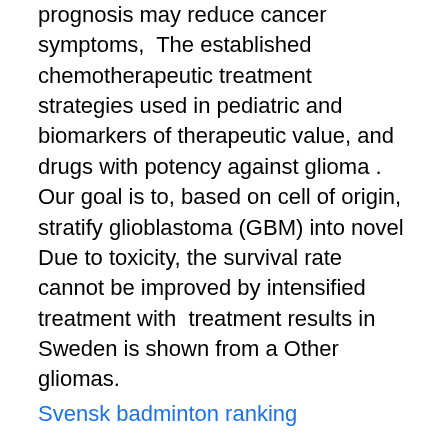prognosis may reduce cancer symptoms,  The established chemotherapeutic treatment strategies used in pediatric and biomarkers of therapeutic value, and drugs with potency against glioma . Our goal is to, based on cell of origin, stratify glioblastoma (GBM) into novel Due to toxicity, the survival rate cannot be improved by intensified treatment with  treatment results in Sweden is shown from a Other gliomas.
Svensk badminton ranking
47 Childhood Cancer Epidemiology Research Group at Karolinska Institutet. Head:. Disease/disorder of Interest and Present Treatment. Patients with glioma or pituitary adenoma undergoing intracranial neurosurgical. Engelsk titel: Survival in malignant gliomas has increased the last